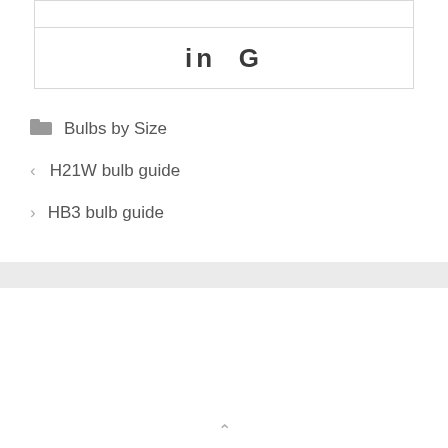[Figure (other): Social media icons area showing 'in G' (LinkedIn and Google icons)]
Bulbs by Size
H21W bulb guide
HB3 bulb guide